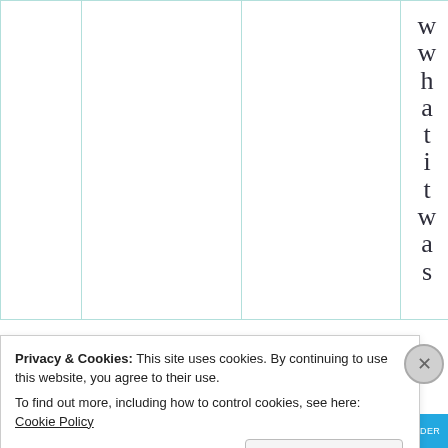|  |  |  |  |  |  |
w w h a t i t w a s
Privacy & Cookies: This site uses cookies. By continuing to use this website, you agree to their use.
To find out more, including how to control cookies, see here: Cookie Policy
Close and accept
[Figure (screenshot): Blue banner strip at the bottom of the page]